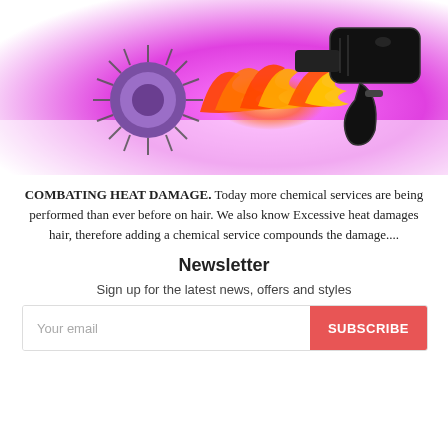[Figure (illustration): Illustration of a hair dryer blowing flames at a round hair brush, with a pink/magenta gradient background]
COMBATING HEAT DAMAGE. Today more chemical services are being performed than ever before on hair. We also know Excessive heat damages hair, therefore adding a chemical service compounds the damage....
Newsletter
Sign up for the latest news, offers and styles